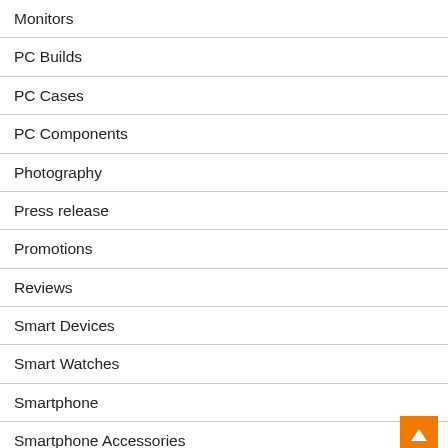Monitors
PC Builds
PC Cases
PC Components
Photography
Press release
Promotions
Reviews
Smart Devices
Smart Watches
Smartphone
Smartphone Accessories
Storage Devices